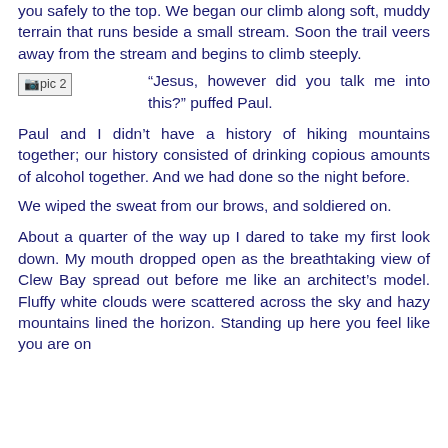you safely to the top. We began our climb along soft, muddy terrain that runs beside a small stream. Soon the trail veers away from the stream and begins to climb steeply.
[Figure (photo): pic 2 - placeholder image]
“Jesus, however did you talk me into this?” puffed Paul.
Paul and I didn’t have a history of hiking mountains together; our history consisted of drinking copious amounts of alcohol together. And we had done so the night before.
We wiped the sweat from our brows, and soldiered on.
About a quarter of the way up I dared to take my first look down. My mouth dropped open as the breathtaking view of Clew Bay spread out before me like an architect’s model. Fluffy white clouds were scattered across the sky and hazy mountains lined the horizon. Standing up here you feel like you are on